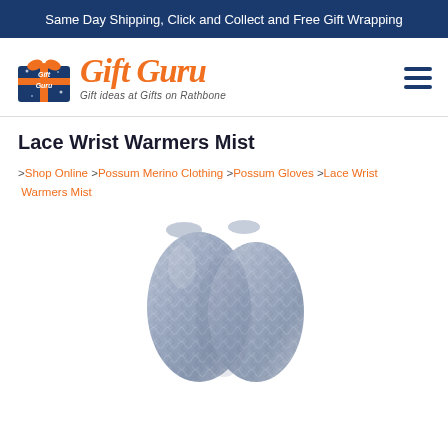Same Day Shipping, Click and Collect and Free Gift Wrapping
[Figure (logo): Gift Guru logo with gift box icon and text 'Gift Guru — Gift ideas at Gifts on Rathbone']
Lace Wrist Warmers Mist
>Shop Online >Possum Merino Clothing >Possum Gloves >Lace Wrist Warmers Mist
[Figure (photo): Close-up photo of grey/mist lace knit wrist warmers/fingerless gloves with textured lace pattern]